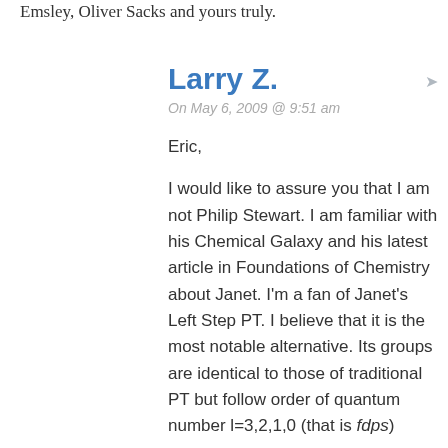Emsley, Oliver Sacks and yours truly.
Larry Z.
On May 6, 2009 @ 9:51 am
Eric,
I would like to assure you that I am not Philip Stewart. I am familiar with his Chemical Galaxy and his latest article in Foundations of Chemistry about Janet. I'm a fan of Janet's Left Step PT. I believe that it is the most notable alternative. Its groups are identical to those of traditional PT but follow order of quantum number l=3,2,1,0 (that is fdps) instead of l=0,2,1 that is…